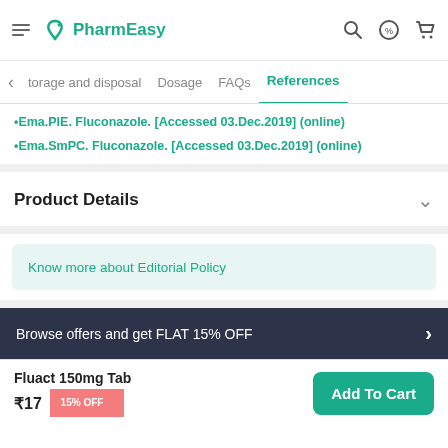PharmEasy
torage and disposal  Dosage  FAQs  References
•Ema.PIE. Fluconazole. [Accessed 03.Dec.2019] (online)
•Ema.SmPC. Fluconazole. [Accessed 03.Dec.2019] (online)
Product Details
Know more about Editorial Policy
Browse offers and get FLAT 15% OFF
Fluact 150mg Tab ₹17 15% OFF
Add To Cart